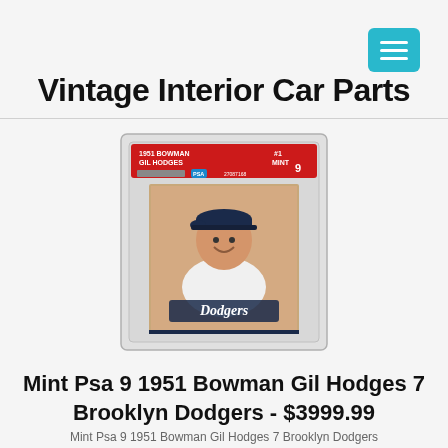Vintage Interior Car Parts
Vintage Interior Car Parts
[Figure (photo): A PSA graded baseball card (Mint PSA 9) of Gil Hodges, 1951 Bowman, Brooklyn Dodgers, encased in a clear plastic slab with red label header showing '1951 BOWMAN GIL HODGES #1 MINT 9'. The card shows a smiling player in a Dodgers uniform.]
Mint Psa 9 1951 Bowman Gil Hodges 7 Brooklyn Dodgers - $3999.99
Mint Psa 9 1951 Bowman Gil Hodges 7 Brooklyn Dodgers